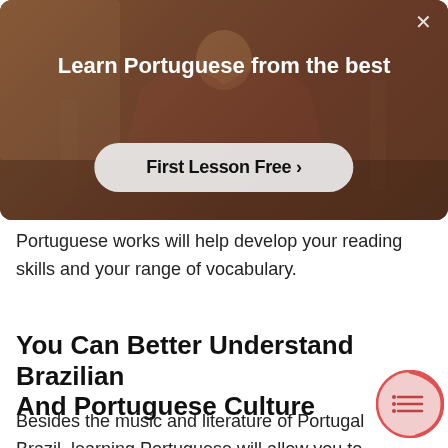[Figure (screenshot): Modal overlay with dark warm-toned background showing a person with arms outstretched. Contains heading 'Learn Portuguese from the best' and a CTA button 'First Lesson Free >']
Portuguese works will help develop your reading skills and your range of vocabulary.
You Can Better Understand Brazilian And Portuguese Culture
Besides the music and literature of Portugal Brazil, learning Portuguese will allow you to immerse yourself in Portuguese and/or Brazilian